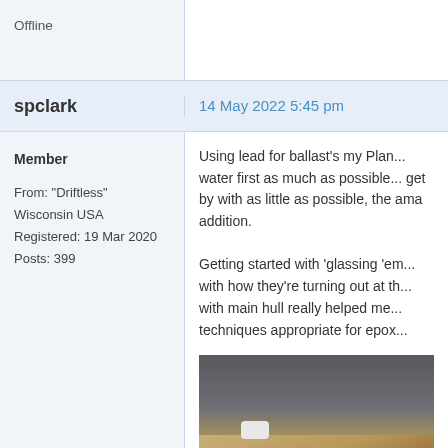Offline
spclark
14 May 2022 5:45 pm
Member
From: "Driftless" Wisconsin USA
Registered: 19 Mar 2020
Posts: 399
Using lead for ballast's my Plan... water first as much as possible... get by with as little as possible, the ama addition.

Getting started with 'glassing 'em... with how they're turning out at th... with main hull really helped me... techniques appropriate for epox...
[Figure (photo): Workshop photo showing wooden boat hull parts being glassed/epoxied, with cardboard support forms, a paint roller, and shelving with tires and supplies in the background.]